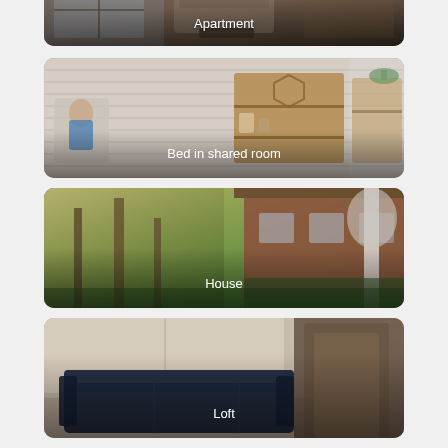[Figure (photo): Partial view of apartment interior photo with label 'Apartment' in white text]
[Figure (photo): Interior photo showing person sitting in chair with shelving unit and brick wall background, labeled 'Bed in shared room']
[Figure (photo): Exterior photo of a house surrounded by trees, labeled 'House']
[Figure (photo): Interior photo of a room with dark sofa, labeled 'Loft']
[Figure (photo): Partial view of another interior photo at bottom, cut off]